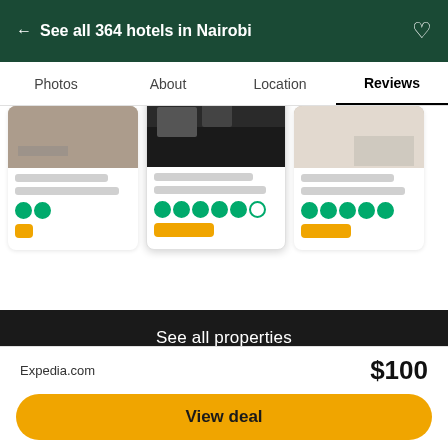← See all 364 hotels in Nairobi
Photos  About  Location  Reviews
[Figure (screenshot): Three hotel property cards with images, star ratings, and price buttons]
See all properties
PRICE RANGE
$76 - $106 (Based on Average Rates for a Standard Room)
LOCATION
Kenya > Nairobi
NUMBER OF ROOMS
Expedia.com  $100
View deal